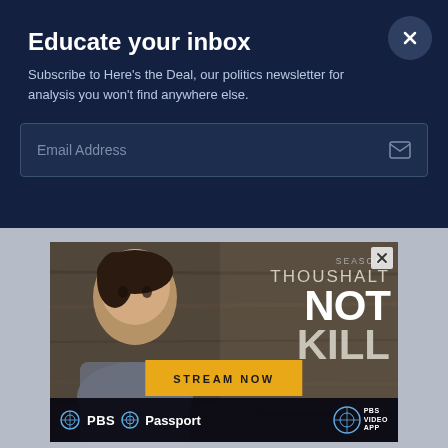Educate your inbox
Subscribe to Here's the Deal, our politics newsletter for analysis you won't find anywhere else.
Email Address
[Figure (screenshot): PBS advertisement for 'Thou Shalt Not Kill' Season 4, featuring a woman's face on the left, show title text on the right reading 'SEASON4 THOUSHALT NOT KILL', a 'STREAM NOW' button in gold/yellow, and PBS Passport and PBS Video App logos at the bottom.]